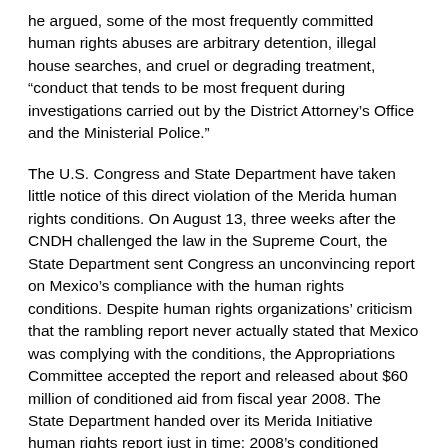he argued, some of the most frequently committed human rights abuses are arbitrary detention, illegal house searches, and cruel or degrading treatment, “conduct that tends to be most frequent during investigations carried out by the District Attorney’s Office and the Ministerial Police.”
The U.S. Congress and State Department have taken little notice of this direct violation of the Merida human rights conditions. On August 13, three weeks after the CNDH challenged the law in the Supreme Court, the State Department sent Congress an unconvincing report on Mexico’s compliance with the human rights conditions. Despite human rights organizations’ criticism that the rambling report never actually stated that Mexico was complying with the conditions, the Appropriations Committee accepted the report and released about $60 million of conditioned aid from fiscal year 2008. The State Department handed over its Merida Initiative human rights report just in time: 2008’s conditioned funds were set to expire one month later, on September 30.